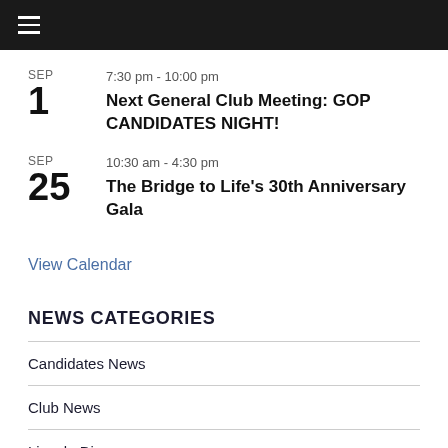≡
SEP 1 — 7:30 pm - 10:00 pm — Next General Club Meeting: GOP CANDIDATES NIGHT!
SEP 25 — 10:30 am - 4:30 pm — The Bridge to Life's 30th Anniversary Gala
View Calendar
NEWS CATEGORIES
Candidates News
Club News
Lincoln Dinner